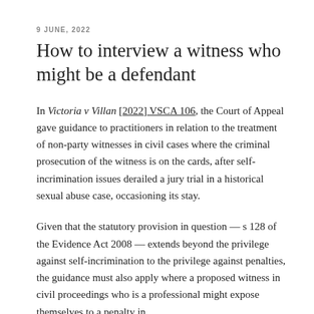9 JUNE, 2022
How to interview a witness who might be a defendant
In Victoria v Villan [2022] VSCA 106, the Court of Appeal gave guidance to practitioners in relation to the treatment of non-party witnesses in civil cases where the criminal prosecution of the witness is on the cards, after self-incrimination issues derailed a jury trial in a historical sexual abuse case, occasioning its stay.
Given that the statutory provision in question — s 128 of the Evidence Act 2008 — extends beyond the privilege against self-incrimination to the privilege against penalties, the guidance must also apply where a proposed witness in civil proceedings who is a professional might expose themselves to a penalty in